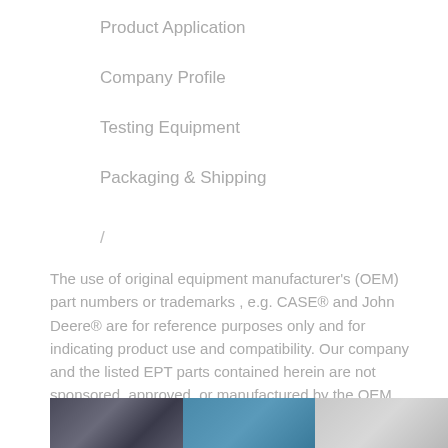Product Application
Company Profile
Testing Equipment
Packaging & Shipping
/
The use of original equipment manufacturer's (OEM) part numbers or trademarks , e.g. CASE® and John Deere® are for reference purposes only and for indicating product use and compatibility. Our company and the listed EPT parts contained herein are not sponsored, approved, or manufactured by the OEM.
/
[Figure (photo): Photo strip showing industrial/mechanical equipment images in three panels]